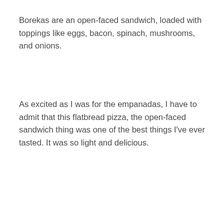Borekas are an open-faced sandwich, loaded with toppings like eggs, bacon, spinach, mushrooms, and onions.
As excited as I was for the empanadas, I have to admit that this flatbread pizza, the open-faced sandwich thing was one of the best things I've ever tasted. It was so light and delicious.